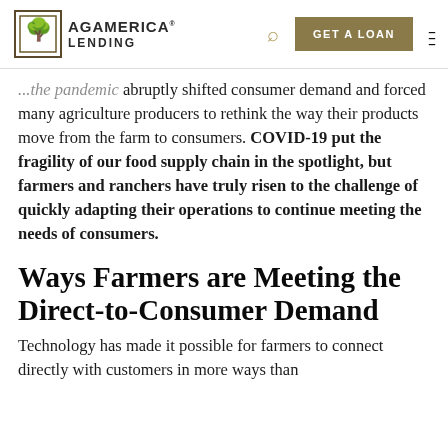AG AMERICA LENDING | GET A LOAN
...the pandemic abruptly shifted consumer demand and forced many agriculture producers to rethink the way their products move from the farm to consumers. COVID-19 put the fragility of our food supply chain in the spotlight, but farmers and ranchers have truly risen to the challenge of quickly adapting their operations to continue meeting the needs of consumers.
Ways Farmers are Meeting the Direct-to-Consumer Demand
Technology has made it possible for farmers to connect directly with customers in more ways than